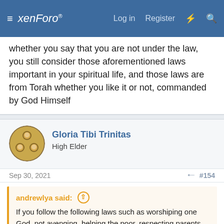xenForo — Log in  Register
whether you say that you are not under the law, you still consider those aforementioned laws important in your spiritual life, and those laws are from Torah whether you like it or not, commanded by God Himself
Gloria Tibi Trinitas
High Elder
Sep 30, 2021   #154
andrewlya said: ↑
If you follow the following laws such as worshiping one God, not avenging, helping the poor, respecting parents and elders, not stealing, rejecting paganism, not oppressing the weak, loving God etc you are following Torah that is Old Testament laws. So whether you say that you are not under the law, you still consider those aforementioned laws important in your spiritual life, and those laws are from Torah whether you like it or not.